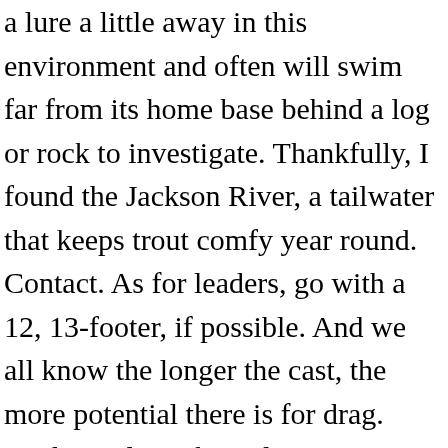a lure a little away in this environment and often will swim far from its home base behind a log or rock to investigate. Thankfully, I found the Jackson River, a tailwater that keeps trout comfy year round. Contact. As for leaders, go with a 12, 13-footer, if possible. And we all know the longer the cast, the more potential there is for drag. Fred McClintock: Tailraces are artificial environments. I've caught some whopper rainbows while using this approach. But when the water is high in a tailrace, they can be caught even in bright sunlight. From the technical currents, the pressured fishing,